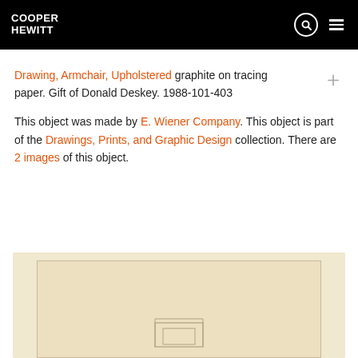COOPER HEWITT
Drawing, Armchair, Upholstered graphite on tracing paper. Gift of Donald Deskey. 1988-101-403
This object was made by E. Wiener Company. This object is part of the Drawings, Prints, and Graphic Design collection. There are 2 images of this object.
[Figure (photo): Photograph of a drawing on tracing/cream paper showing an armchair sketch]